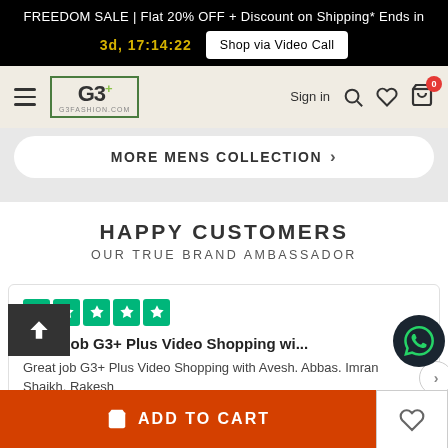FREEDOM SALE | Flat 20% OFF + Discount on Shipping* Ends in 3d, 17:14:22  Shop via Video Call
[Figure (logo): G3+ fashion logo with green border]
MORE MENS COLLECTION →
HAPPY CUSTOMERS
OUR TRUE BRAND AMBASSADOR
Great job G3+ Plus Video Shopping wi...
Great job G3+ Plus Video Shopping with Avesh. Abbas. Imran Shaikh. Rakesh
ADD TO CART